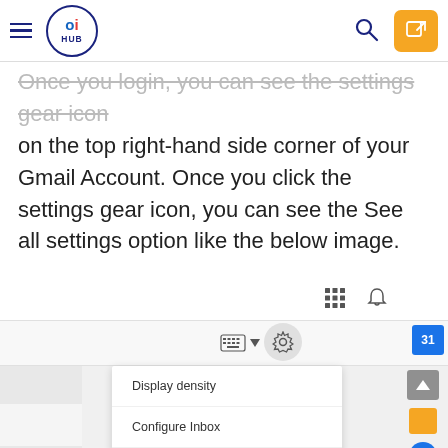oi HUB — navigation header with hamburger menu, logo, search, and edit button
Once you login, you can see the settings gear icon on the top right-hand side corner of your Gmail Account. Once you click the settings gear icon, you can see the See all settings option like the below image.
[Figure (screenshot): Gmail interface screenshot showing the settings gear icon dropdown menu with options: Display density, Configure Inbox, Settings (highlighted with cursor), Themes, Customise address. Right panel shows calendar icon (31), scroll button, yellow square, blue check circle, and plus button.]